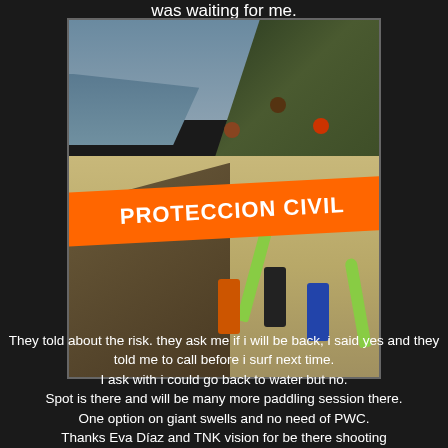was waiting for me.
[Figure (photo): Photo of a beach scene with a orange and white 'PROTECCION CIVIL' barrier tape across the foreground, people in orange and dark gear holding green surfboards on the sand below, with green cliffs and surf in the background. Wooden railing stairs visible on the left.]
They told about the risk. they ask me if i will be back, i said yes and they told me to call before i surf next time.
I ask with i could go back to water but no.
Spot is there and will be many more paddling session there.
One option on giant swells and no need of PWC.
Thanks Eva Díaz and TNK vision for be there shooting